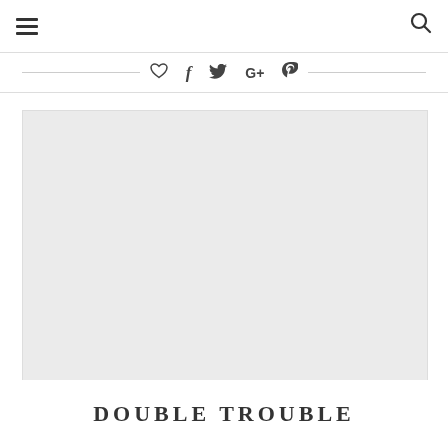≡ [hamburger menu] ... [search icon]
[Figure (screenshot): Social sharing bar with heart, Facebook, Twitter, Google+, and Pinterest icons centered between two horizontal lines]
[Figure (photo): Large light gray image placeholder rectangle]
DOUBLE TROUBLE